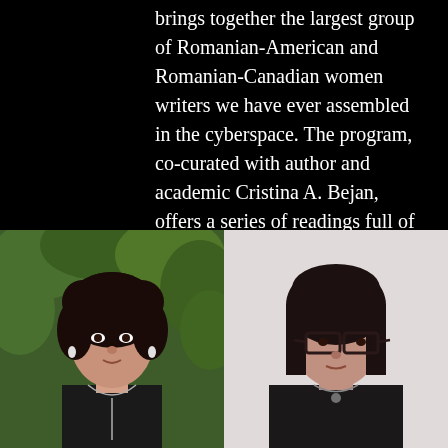brings together the largest group of Romanian-American and Romanian-Canadian women writers we have ever assembled in the cyberspace. The program, co-curated with author and academic Cristina A. Bejan, offers a series of readings full of passion, truth and skill to match a time of tumult and reinvention.
[Figure (photo): Two side-by-side portrait photographs of women with dark hair. Left: a woman with curly dark hair wearing a black top and long necklace, photographed in front of green foliage. Right: a woman with straight dark hair and glasses wearing a dark blazer with a necklace, photographed against a light background.]